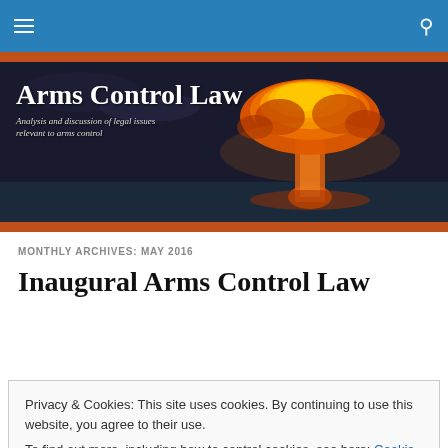[Figure (screenshot): Blue navigation bar with hamburger menu icon on left and search icon on right]
[Figure (illustration): Arms Control Law website banner with nuclear explosion mushroom cloud image in background. White serif title 'Arms Control Law' and italic subtitle 'Analysis and discussion of legal issues relevant to arms control']
MONTHLY ARCHIVES: MAY 2016
Inaugural Arms Control Law
Privacy & Cookies: This site uses cookies. By continuing to use this website, you agree to their use.
To find out more, including how to control cookies, see here: Cookie Policy
Close and accept
I'm very pleased to announce a new initiative here at Arms